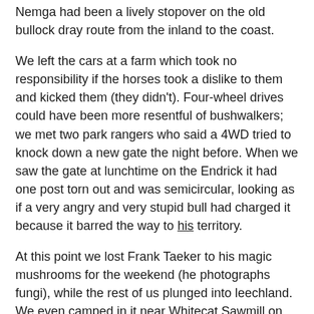Nemga had been a lively stopover on the old bullock dray route from the inland to the coast.
We left the cars at a farm which took no responsibility if the horses took a dislike to them and kicked them (they didn't). Four-wheel drives could have been more resentful of bushwalkers; we met two park rangers who said a 4WD tried to knock down a new gate the night before. When we saw the gate at lunchtime on the Endrick it had one post torn out and was semicircular, looking as if a very angry and very stupid bull had charged it because it barred the way to his territory.
At this point we lost Frank Taeker to his magic mushrooms for the weekend (he photographs fungi), while the rest of us plunged into leechland. We even camped in it near Whitecat Sawmill on picturesque green sward among tree ferns, in a fine drizzle which failed to dampen spirits.
Among the four superfit prospectives was Gordon whose accent was originally English but overlaid with 16 years of